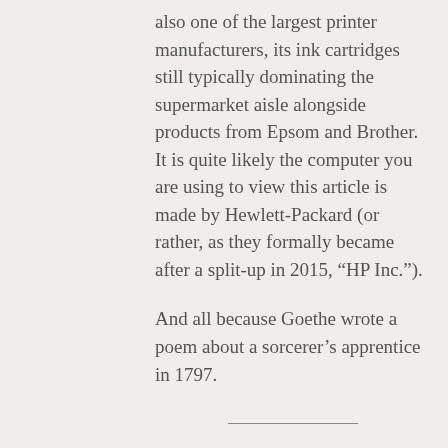also one of the largest printer manufacturers, its ink cartridges still typically dominating the supermarket aisle alongside products from Epsom and Brother. It is quite likely the computer you are using to view this article is made by Hewlett-Packard (or rather, as they formally became after a split-up in 2015, “HP Inc.”).

And all because Goethe wrote a poem about a sorcerer’s apprentice in 1797.
Discuss this article
Thomas Anderson